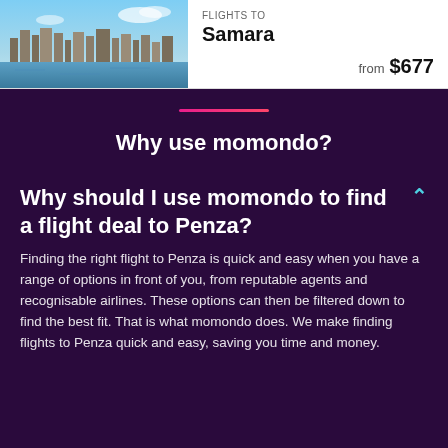[Figure (photo): City skyline photo showing buildings and waterfront, used as a travel destination thumbnail for Samara flight deals]
FLIGHTS TO
Samara
from $677
[Figure (illustration): Pink/magenta horizontal divider line]
Why use momondo?
Why should I use momondo to find a flight deal to Penza?
Finding the right flight to Penza is quick and easy when you have a range of options in front of you, from reputable agents and recognisable airlines. These options can then be filtered down to find the best fit. That is what momondo does. We make finding flights to Penza quick and easy, saving you time and money.